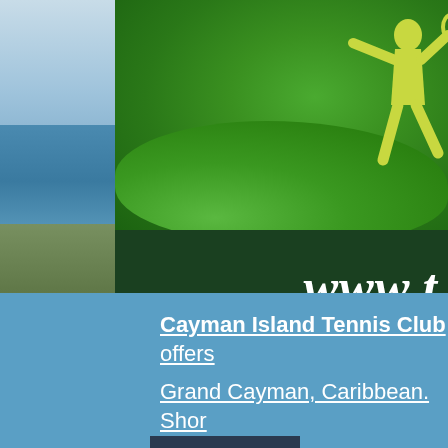[Figure (photo): Left strip: aerial photograph of Grand Cayman coastline showing sky, turquoise Caribbean water, and land/vegetation. Right main area: close-up of a green tennis court surface with a yellow tennis player silhouette logo. Below the green area is a dark green banner showing partial URL text 'www.t...' in white italic bold font.]
Cayman Island Tennis Club offers... Grand Cayman, Caribbean. Shor...